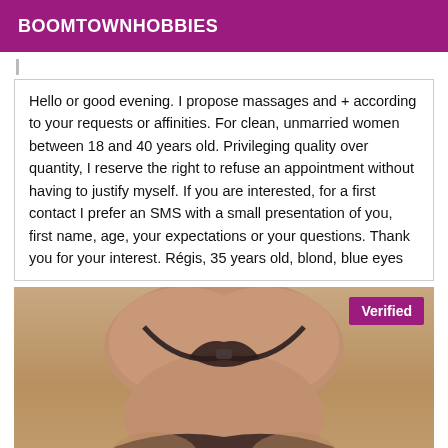BOOMTOWNHOBBIES
Hello or good evening. I propose massages and + according to your requests or affinities. For clean, unmarried women between 18 and 40 years old. Privileging quality over quantity, I reserve the right to refuse an appointment without having to justify myself. If you are interested, for a first contact I prefer an SMS with a small presentation of you, first name, age, your expectations or your questions. Thank you for your interest. Régis, 35 years old, blond, blue eyes
[Figure (photo): Photo of a person in a bikini, cropped to torso. A purple 'Verified' badge appears in the top-right corner.]